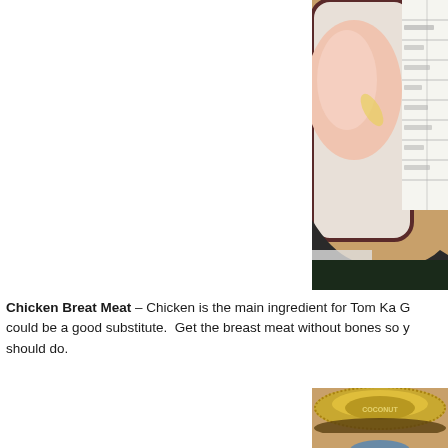[Figure (photo): Top portion of a chicken breast meat package showing raw chicken on left and a nutrition label on the right side, partially cropped]
Chicken Breat Meat – Chicken is the main ingredient for Tom Ka G could be a good substitute. Get the breast meat without bones so y should do.
[Figure (photo): Close-up top view of a metal jar lid with ridged edges on a wooden surface, partially cropped at bottom]